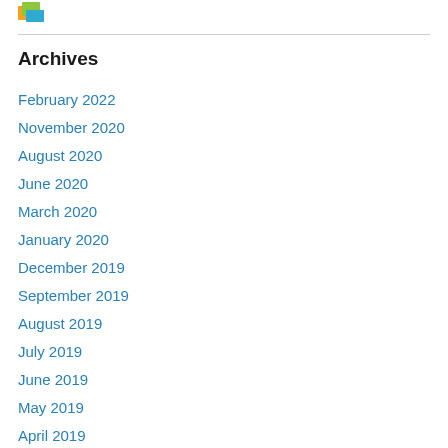[logo]
Archives
February 2022
November 2020
August 2020
June 2020
March 2020
January 2020
December 2019
September 2019
August 2019
July 2019
June 2019
May 2019
April 2019
March 2019
February 2019
January 2019